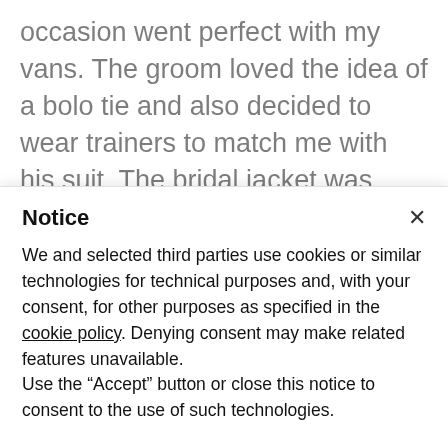occasion went perfect with my vans. The groom loved the idea of a bolo tie and also decided to wear trainers to match me with his suit. The bridal jacket was something I had been working on for a while and I couldn't wait to wear it at every opportunity for the wedding. I made the bouquet
Notice
We and selected third parties use cookies or similar technologies for technical purposes and, with your consent, for other purposes as specified in the cookie policy. Denying consent may make related features unavailable.
Use the "Accept" button or close this notice to consent to the use of such technologies.
Accept
Learn more and customize